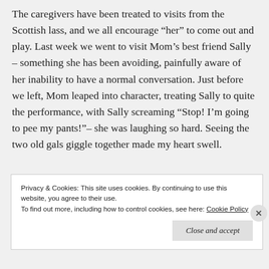The caregivers have been treated to visits from the Scottish lass, and we all encourage “her” to come out and play. Last week we went to visit Mom’s best friend Sally – something she has been avoiding, painfully aware of her inability to have a normal conversation. Just before we left, Mom leaped into character, treating Sally to quite the performance, with Sally screaming “Stop! I’m going to pee my pants!”– she was laughing so hard. Seeing the two old gals giggle together made my heart swell.
Privacy & Cookies: This site uses cookies. By continuing to use this website, you agree to their use.
To find out more, including how to control cookies, see here: Cookie Policy
Close and accept